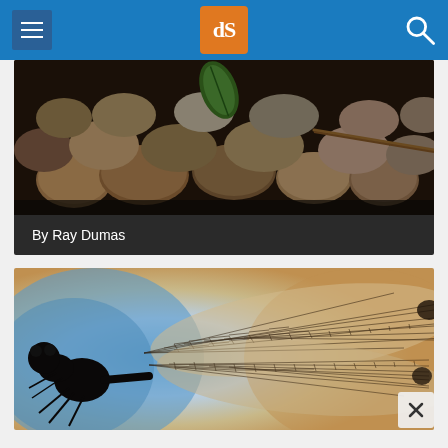dPS (Digital Photography School) website header with menu, logo, and search
[Figure (photo): Close-up photo of river rocks/pebbles with a green leaf, dark tones, macro photography]
By Ray Dumas
[Figure (photo): Macro silhouette photo of a dragonfly showing detailed wing venation against a blue and golden brown bokeh background]